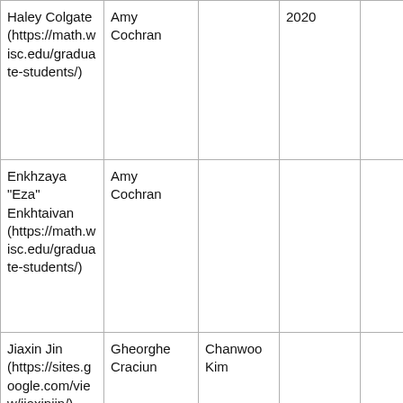| Haley Colgate (https://math.wisc.edu/graduate-students/) | Amy Cochran |  | 2020 |  |
| Enkhzaya "Eza" Enkhtaivan (https://math.wisc.edu/graduate-students/) | Amy Cochran |  |  |  |
| Jiaxin Jin (https://sites.google.com/view/jiaxinjin/) | Gheorghe Craciun | Chanwoo Kim |  |  |
| Jenny |  |  |  |  |